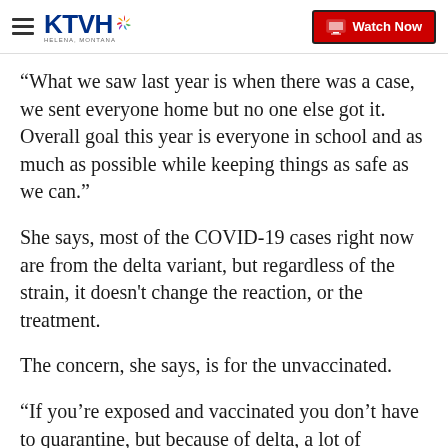KTVH — Watch Now
“What we saw last year is when there was a case, we sent everyone home but no one else got it. Overall goal this year is everyone in school and as much as possible while keeping things as safe as we can.”
She says, most of the COVID-19 cases right now are from the delta variant, but regardless of the strain, it doesn’t change the reaction, or the treatment.
The concern, she says, is for the unvaccinated.
“If you’re exposed and vaccinated you don’t have to quarantine, but because of delta, a lot of workplaces are being more cautious and may not want you there anyway. But if you’re symptomatic, no matter what,